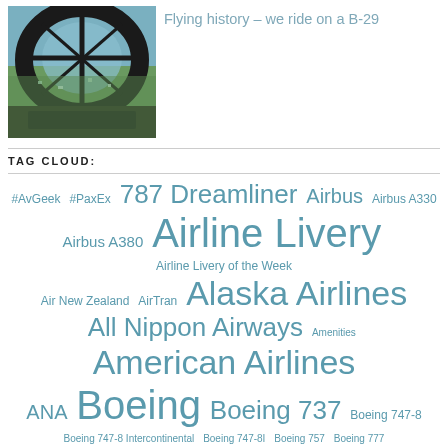[Figure (photo): View from inside a B-29 bomber cockpit looking out through the large greenhouse-style windshield toward landscape below]
Flying history – we ride on a B-29
TAG CLOUD:
#AvGeek #PaxEx 787 Dreamliner Airbus Airbus A330 Airbus A380 Airline Livery Airline Livery of the Week Air New Zealand AirTran Alaska Airlines All Nippon Airways Amenities American Airlines ANA Boeing Boeing 737 Boeing 747-8 Boeing 747-8 Intercontinental Boeing 747-8I Boeing 757 Boeing 777 Boeing 777-300ER Boeing 787 Boeing 787 Dreamliner Boeing Field/King...